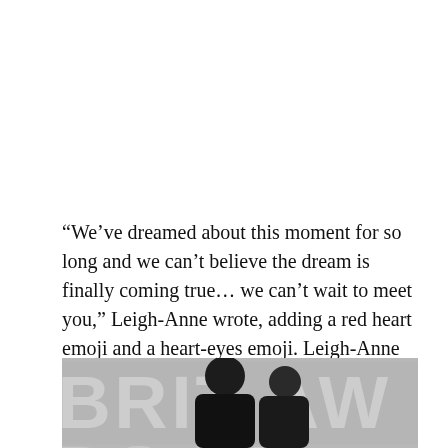“We’ve dreamed about this moment for so long and we can’t believe the dream is finally coming true… we can’t wait to meet you,” Leigh-Anne wrote, adding a red heart emoji and a heart-eyes emoji. Leigh-Anne received an outpouring of love and support from famous friends and fans alike. Even her Little Mix ladies shared their excitement in the comment section to the post.
[Figure (photo): A man and woman at a BRIT Awards backdrop. The man is in dark clothing with close-cropped hair. The woman is partially visible beside him. The background shows the BRIT Awards logo repeated.]